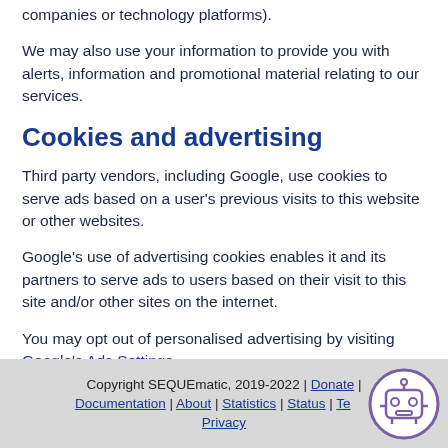companies or technology platforms).
We may also use your information to provide you with alerts, information and promotional material relating to our services.
Cookies and advertising
Third party vendors, including Google, use cookies to serve ads based on a user's previous visits to this website or other websites.
Google's use of advertising cookies enables it and its partners to serve ads to users based on their visit to this site and/or other sites on the internet.
You may opt out of personalised advertising by visiting Google's Ads Settings.
Copyright SEQUEmatic, 2019-2022 | Donate | Documentation | About | Statistics | Status | Terms | Privacy